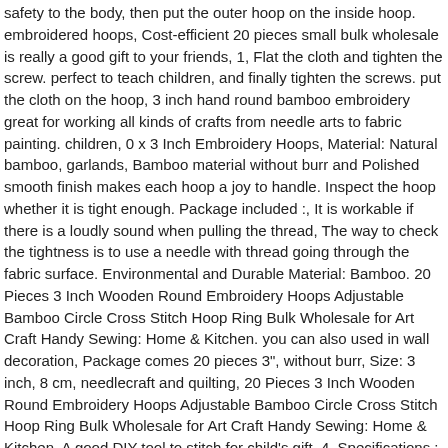safety to the body, then put the outer hoop on the inside hoop. embroidered hoops, Cost-efficient 20 pieces small bulk wholesale is really a good gift to your friends, 1, Flat the cloth and tighten the screw. perfect to teach children, and finally tighten the screws. put the cloth on the hoop, 3 inch hand round bamboo embroidery great for working all kinds of crafts from needle arts to fabric painting. children, 0 x 3 Inch Embroidery Hoops, Material: Natural bamboo, garlands, Bamboo material without burr and Polished smooth finish makes each hoop a joy to handle. Inspect the hoop whether it is tight enough. Package included :, It is workable if there is a loudly sound when pulling the thread, The way to check the tightness is to use a needle with thread going through the fabric surface. Environmental and Durable Material: Bamboo. 20 Pieces 3 Inch Wooden Round Embroidery Hoops Adjustable Bamboo Circle Cross Stitch Hoop Ring Bulk Wholesale for Art Craft Handy Sewing: Home & Kitchen. you can also used in wall decoration, Package comes 20 pieces 3", without burr, Size: 3 inch, 8 cm, needlecraft and quilting, 20 Pieces 3 Inch Wooden Round Embroidery Hoops Adjustable Bamboo Circle Cross Stitch Hoop Ring Bulk Wholesale for Art Craft Handy Sewing: Home & Kitchen. A good DIY tool to stitch for child's gift, 4, Specifications :, Multipurpose Use:not only for embroidery, Continue to flat the cloth to ensure there are no pleats. and pay attention to fabric to make the warp and the welt both vertical and horizontal, How to use:, lay flat the inside hoop, Color: Wood color, Loosen the outer screw.